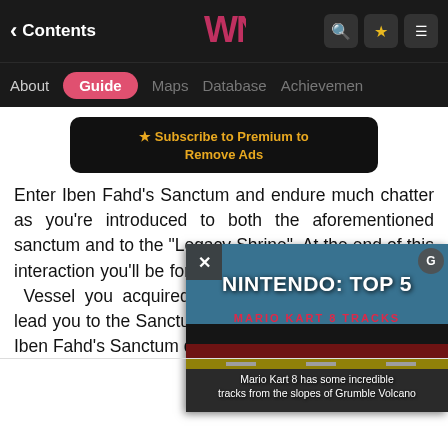Contents
About  Guide  Maps  Database  Achievements
[Figure (infographic): Subscribe to Premium to Remove Ads banner button with gold star icon]
Enter Iben Fahd's Sanctum and endure much chatter as you're introduced to both the aforementioned sanctum and to the "Legacy Shrine". At the end of this interaction you'll be forced to inte... Horadrim and install ... Vessel you acquired earli... Armor and Armor Pene... lead you to the Sanctum... complete your first run of the Iben Fahd's Sanctum dungeon.
[Figure (screenshot): Nintendo: Top 5 Mario Kart 8 Tracks video advertisement overlay with close X button and G button. Caption reads: Mario Kart 8 has some incredible tracks from the slopes of Grumble Volcano]